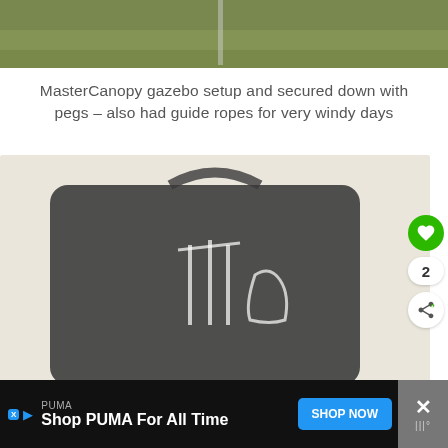[Figure (photo): Top portion of a MasterCanopy gazebo setup on grass, secured with pegs]
MasterCanopy gazebo setup and secured down with pegs – also had guide ropes for very windy days
[Figure (photo): Dark gazebo bag/case with white logo icons on a light sandy/gravel background, with like (heart) button showing count of 2 and a share button]
PUMA
Shop PUMA For All Time
SHOP NOW